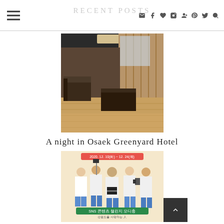RECENT POSTS
[Figure (photo): Hotel room interior with wooden floor, sofa, curtains and a coffee table]
A night in Osaek Greenyard Hotel
[Figure (photo): SNS promotional banner in Korean showing people with cameras and filming equipment, dated 2020.12.10 - 12.24, with text about SNS content creator recruitment]